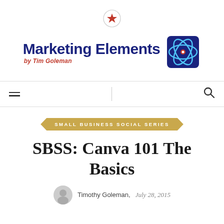[Figure (logo): Marketing Elements by Tim Goleman logo with atomic symbol icon and red star above]
[Figure (infographic): Navigation bar with hamburger menu on left, vertical divider, and search icon on right]
SMALL BUSINESS SOCIAL SERIES
SBSS: Canva 101 The Basics
Timothy Goleman, July 28, 2015